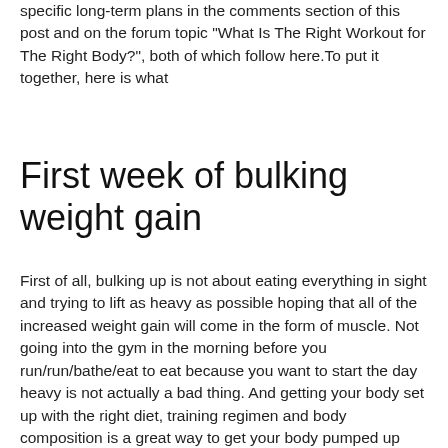specific long-term plans in the comments section of this post and on the forum topic "What Is The Right Workout for The Right Body?", both of which follow here.To put it together, here is what
First week of bulking weight gain
First of all, bulking up is not about eating everything in sight and trying to lift as heavy as possible hoping that all of the increased weight gain will come in the form of muscle. Not going into the gym in the morning before you run/run/bathe/eat to eat because you want to start the day heavy is not actually a bad thing. And getting your body set up with the right diet, training regimen and body composition is a great way to get your body pumped up after a long day's work, bulk up tm ultra sun. We've provided you with some of the best nutritional strategies and